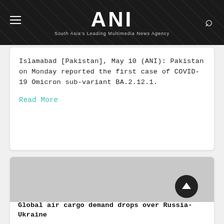ANI — South Asia's Leading Multimedia News Agency
Islamabad [Pakistan], May 10 (ANI): Pakistan on Monday reported the first case of COVID-19 Omicron sub-variant BA.2.12.1.
Read More
[Figure (photo): Gray placeholder image area for second article]
Global air cargo demand drops over Russia-Ukraine